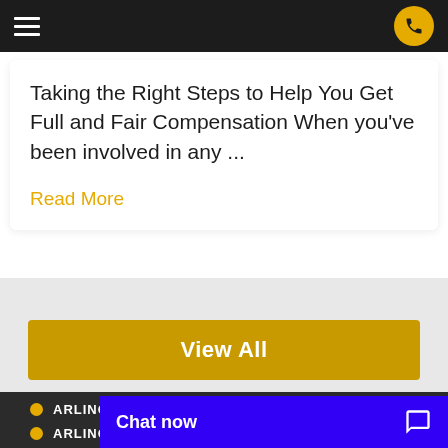Navigation bar with hamburger menu and phone button
Taking the Right Steps to Help You Get Full and Fair Compensation When you've been involved in any ...
Read More
View All
ARLINGTON - 2216
ARLINGTON - 2220
Chat now